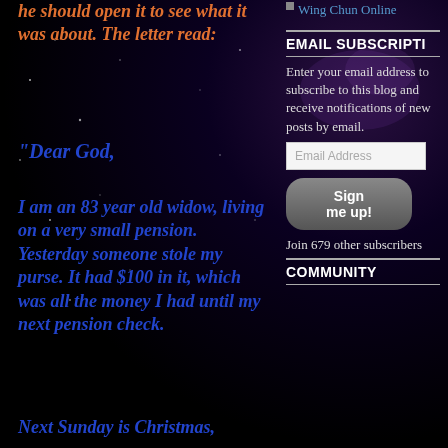he should open it to see what it was about. The letter read:
"Dear God,
I am an 83 year old widow, living on a very small pension. Yesterday someone stole my purse. It had $100 in it, which was all the money I had until my next pension check.
Next Sunday is Christmas,
Wing Chun Online
EMAIL SUBSCRIPTION
Enter your email address to subscribe to this blog and receive notifications of new posts by email.
Sign me up!
Join 679 other subscribers
COMMUNITY